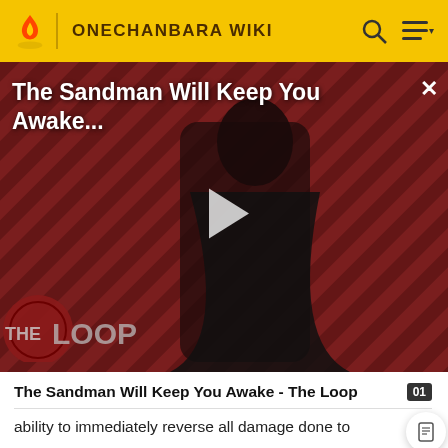ONECHANBARA WIKI
[Figure (screenshot): Video thumbnail for 'The Sandman Will Keep You Awake - The Loop' showing a figure in black holding a crow, against a red and black diagonal striped background, with a play button overlay and The Loop logo at bottom left.]
The Sandman Will Keep You Awake - The Loop
ability to immediately reverse all damage done to themselves, coupled with their extreme durability and lethal instincts make them incredibly tough targets to kill.